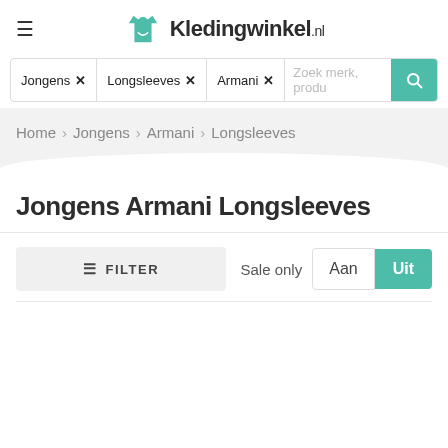Kledingwinkel.nl
Jongens × Longsleeves × Armani × Zoek merk, produ
Home > Jongens > Armani > Longsleeves
Jongens Armani Longsleeves
≡ FILTER   Sale only  Aan  Uit